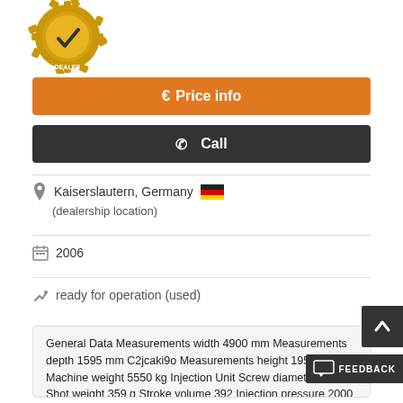[Figure (logo): Gold dealer badge/gear icon with checkmark and 'DEALER' text]
€ Price info
📞 Call
Kaiserslautern, Germany (dealership location)
2006
ready for operation (used)
General Data Measurements width 4900 mm Measurements depth 1595 mm C2jcaki9o Measurements height 1950 mm Machine weight 5550 kg Injection Unit Screw diameter 50 mm Shot weight 359 g Stroke volume 392 Injection pressure 2000 bar Clamping Unit Clamping force 1500 kN This Arburg 470 C 1500-800 Injection moulding machine was built